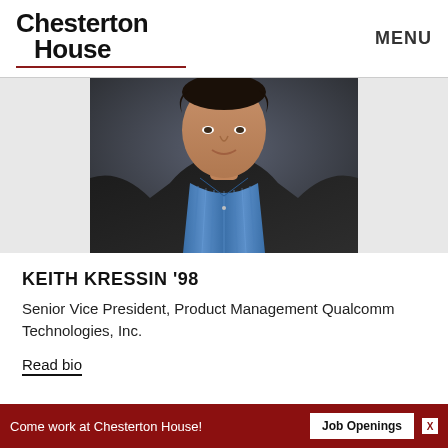Chesterton House | MENU
[Figure (photo): Headshot of Keith Kressin, a man in a dark blazer and blue striped shirt against a dark blurred background]
KEITH KRESSIN '98
Senior Vice President, Product Management Qualcomm Technologies, Inc.
Read bio
Come work at Chesterton House! Job Openings X